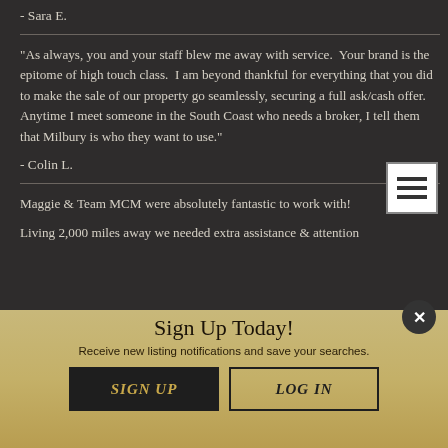- Sara E.
"As always, you and your staff blew me away with service.  Your brand is the epitome of high touch class.  I am beyond thankful for everything that you did to make the sale of our property go seamlessly, securing a full ask/cash offer.  Anytime I meet someone in the South Coast who needs a broker, I tell them that Milbury is who they want to use."
- Colin L.
Maggie & Team MCM were absolutely fantastic to work with!
Living 2,000 miles away we needed extra assistance & attention
Sign Up Today!
Receive new listing notifications and save your searches.
SIGN UP   LOG IN